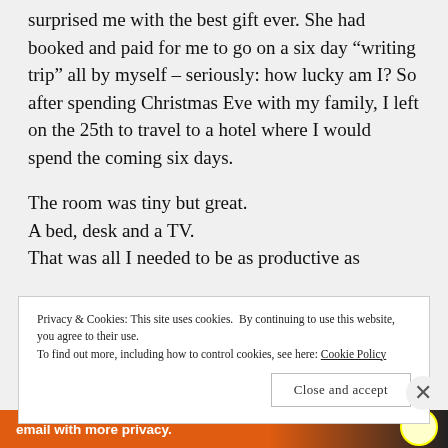surprised me with the best gift ever. She had booked and paid for me to go on a six day “writing trip” all by myself – seriously: how lucky am I? So after spending Christmas Eve with my family, I left on the 25th to travel to a hotel where I would spend the coming six days.
The room was tiny but great.
A bed, desk and a TV.
That was all I needed to be as productive as
Privacy & Cookies: This site uses cookies. By continuing to use this website, you agree to their use.
To find out more, including how to control cookies, see here: Cookie Policy
Close and accept
email with more privacy.